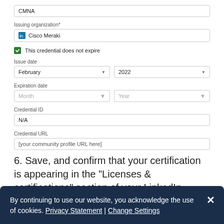[Figure (screenshot): Form showing CMNA text field at top]
Issuing organization*
[Figure (screenshot): Issuing organization field with Cisco Meraki and icon]
This credential does not expire (checkbox checked)
Issue date
February 2022 (dropdown selects)
Expiration date
Month Year (greyed dropdowns)
Credential ID
N/A
Credential URL
[your community profile URL here]
6. Save, and confirm that your certification is appearing in the "Licenses & certifications" section of your LinkedIn profile.
By continuing to use our website, you acknowledge the use of cookies. Privacy Statement | Change Settings